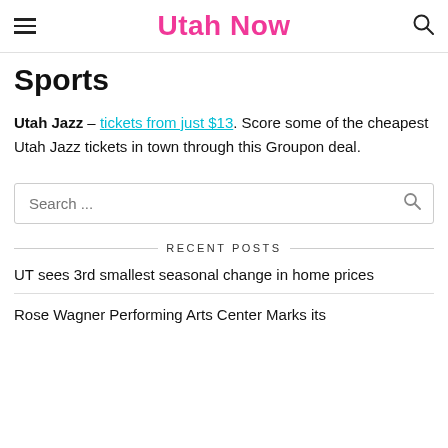Utah Now
Sports
Utah Jazz – tickets from just $13. Score some of the cheapest Utah Jazz tickets in town through this Groupon deal.
Search ...
RECENT POSTS
UT sees 3rd smallest seasonal change in home prices
Rose Wagner Performing Arts Center Marks its